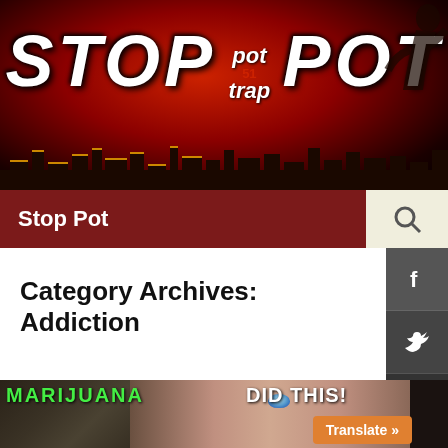[Figure (screenshot): Stop Pot website header banner with dark red/maroon radial gradient background, cityscape silhouette at bottom, large white bold italic text reading STOP [pot trap logo] POT, with a figure of a person in the upper right]
Stop Pot
Category Archives: Addiction
[Figure (photo): Close-up photo of a young woman with dark hair covering half her face, one blue eye visible, with text overlay reading MARIJUANA DID THIS! in green and white]
Translate »